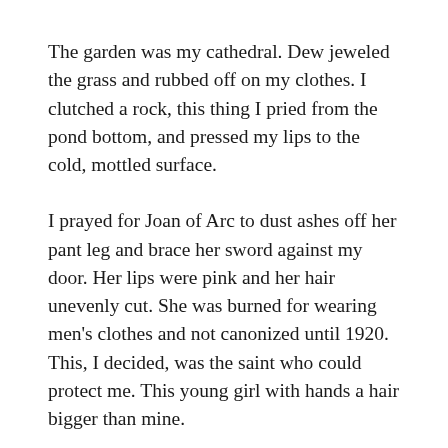The garden was my cathedral. Dew jeweled the grass and rubbed off on my clothes. I clutched a rock, this thing I pried from the pond bottom, and pressed my lips to the cold, mottled surface.
I prayed for Joan of Arc to dust ashes off her pant leg and brace her sword against my door. Her lips were pink and her hair unevenly cut. She was burned for wearing men's clothes and not canonized until 1920. This, I decided, was the saint who could protect me. This young girl with hands a hair bigger than mine.
I breathed these wishes into the stone and